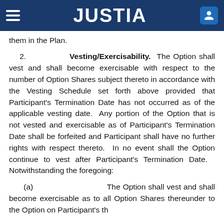JUSTIA
them in the Plan.
2. Vesting/Exercisability. The Option shall vest and shall become exercisable with respect to the number of Option Shares subject thereto in accordance with the Vesting Schedule set forth above provided that Participant’s Termination Date has not occurred as of the applicable vesting date. Any portion of the Option that is not vested and exercisable as of Participant’s Termination Date shall be forfeited and Participant shall have no further rights with respect thereto. In no event shall the Option continue to vest after Participant’s Termination Date. Notwithstanding the foregoing:
(a) The Option shall vest and shall become exercisable as to all Option Shares thereunder to the Option on Participant’s th